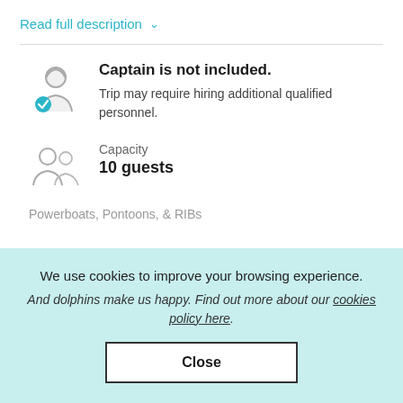Read full description ∨
[Figure (illustration): Person silhouette icon with a blue checkmark badge at bottom right]
Captain is not included. Trip may require hiring additional qualified personnel.
[Figure (illustration): Two person silhouette icons representing guests/capacity]
Capacity
10 guests
Powerboats, Pontoons, & RIBs
We use cookies to improve your browsing experience.
And dolphins make us happy. Find out more about our cookies policy here.
Close